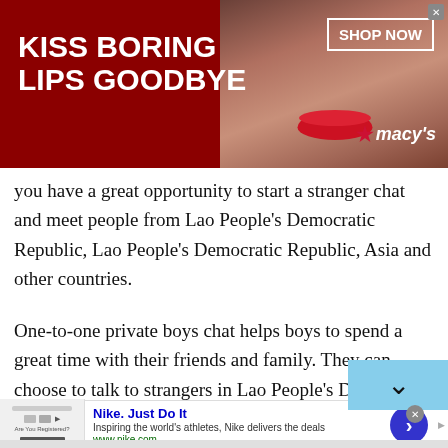[Figure (photo): Macy's advertisement banner: dark red background with woman's face wearing red lipstick, white bold text 'KISS BORING LIPS GOODBYE', 'SHOP NOW' button with border, Macy's star logo]
you have a great opportunity to start a stranger chat and meet people from Lao People's Democratic Republic, Lao People's Democratic Republic, Asia and other countries.
One-to-one private boys chat helps boys to spend a great time with their friends and family. They can choose to talk to strangers in Lao People's Democratic Republic on their favorite topics and have a healthy discussion without experiencing any
[Figure (screenshot): Scroll-up button overlay, light blue background with upward arrow chevron]
[Figure (screenshot): Nike advertisement: 'Nike. Just Do It' with tagline 'Inspiring the world's athletes, Nike delivers the deals', www.nike.com, blue circular CTA button with right arrow]